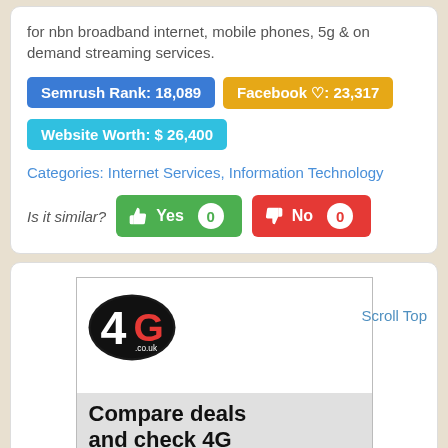for nbn broadband internet, mobile phones, 5g & on demand streaming services.
Semrush Rank: 18,089
Facebook ♡: 23,317
Website Worth: $ 26,400
Categories: Internet Services, Information Technology
Is it similar? Yes 0 No 0
[Figure (screenshot): Advertisement for 4G.co.uk showing a black oval logo with '4G .co.uk' text and an ad reading 'Compare deals and check 4G coverage' with Siteprice.org watermark. Scroll Top link visible.]